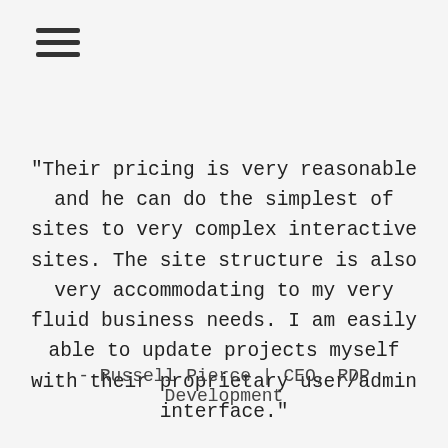[Figure (other): Hamburger menu icon (three horizontal bars)]
"Their pricing is very reasonable and he can do the simplest of sites to very complex interactive sites. The site structure is also very accommodating to my very fluid business needs. I am easily able to update projects myself with their proprietary user/admin interface."
- Russell Pierce | CEO, RDP Development